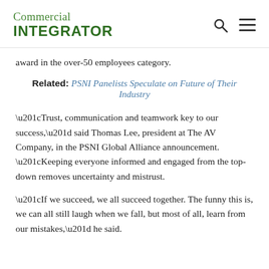Commercial INTEGRATOR
award in the over-50 employees category.
Related: PSNI Panelists Speculate on Future of Their Industry
“Trust, communication and teamwork key to our success,” said Thomas Lee, president at The AV Company, in the PSNI Global Alliance announcement. “Keeping everyone informed and engaged from the top-down removes uncertainty and mistrust.
“If we succeed, we all succeed together. The funny this is, we can all still laugh when we fall, but most of all, learn from our mistakes,” he said.